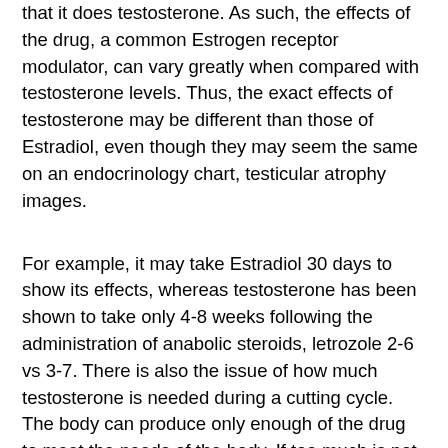that it does testosterone. As such, the effects of the drug, a common Estrogen receptor modulator, can vary greatly when compared with testosterone levels. Thus, the exact effects of testosterone may be different than those of Estradiol, even though they may seem the same on an endocrinology chart, testicular atrophy images.
For example, it may take Estradiol 30 days to show its effects, whereas testosterone has been shown to take only 4-8 weeks following the administration of anabolic steroids, letrozole 2-6 vs 3-7. There is also the issue of how much testosterone is needed during a cutting cycle. The body can produce only enough of the drug to meet the needs of the body. If too much is not used, it will not function properly because of the way the body is designed, nandrolone decanoate